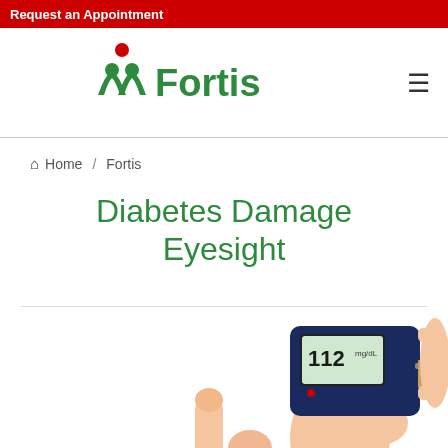Request an Appointment
[Figure (logo): Fortis Healthcare logo with two green human figures and red dot, with 'Fortis' in green text]
Home / Fortis
Diabetes Damage Eyesight
[Figure (photo): Hands holding a blood glucose meter showing reading 112, with finger being tested]